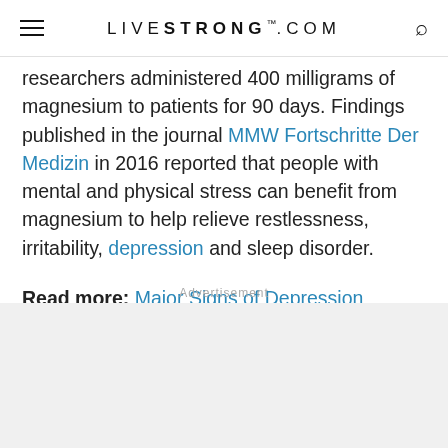LIVESTRONG.COM
researchers administered 400 milligrams of magnesium to patients for 90 days. Findings published in the journal MMW Fortschritte Der Medizin in 2016 reported that people with mental and physical stress can benefit from magnesium to help relieve restlessness, irritability, depression and sleep disorder.
Read more: Major Signs of Depression
Advertisement